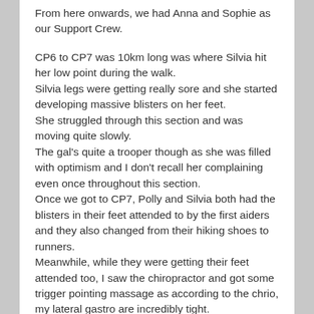From here onwards, we had Anna and Sophie as our Support Crew.
CP6 to CP7 was 10km long was where Silvia hit her low point during the walk.
Silvia legs were getting really sore and she started developing massive blisters on her feet.
She struggled through this section and was moving quite slowly.
The gal's quite a trooper though as she was filled with optimism and I don't recall her complaining even once throughout this section.
Once we got to CP7, Polly and Silvia both had the blisters in their feet attended to by the first aiders and they also changed from their hiking shoes to runners.
Meanwhile, while they were getting their feet attended too, I saw the chiropractor and got some trigger pointing massage as according to the chrio, my lateral gastro are incredibly tight.